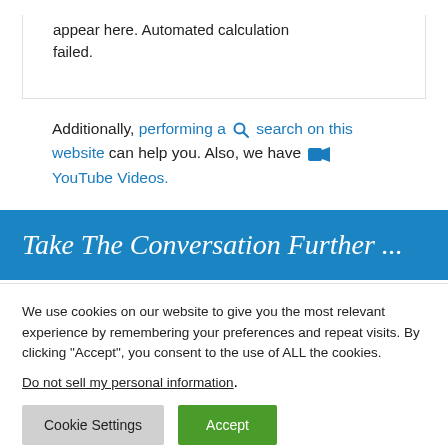appear here. Automated calculation failed.
Additionally, performing a search on this website can help you. Also, we have YouTube Videos.
Take The Conversation Further ...
We use cookies on our website to give you the most relevant experience by remembering your preferences and repeat visits. By clicking “Accept”, you consent to the use of ALL the cookies.
Do not sell my personal information.